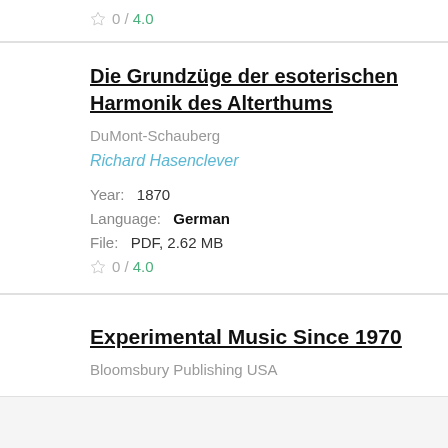0 / 4.0
Die Grundzüge der esoterischen Harmonik des Alterthums
DuMont-Schauberg
Richard Hasenclever
Year: 1870
Language: German
File: PDF, 2.62 MB
0 / 4.0
Experimental Music Since 1970
Bloomsbury Publishing USA